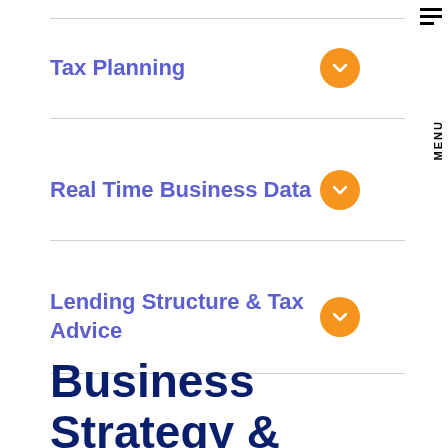Tax Planning
Real Time Business Data
Lending Structure & Tax Advice
Business Strategy & Execution